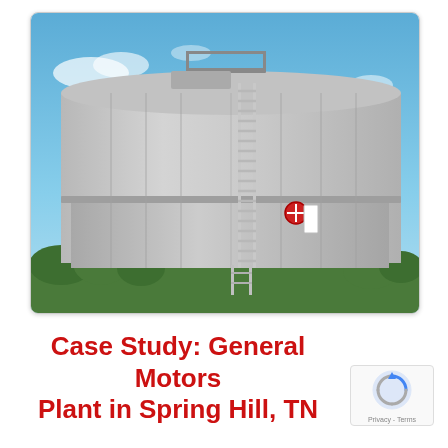[Figure (photo): Large industrial storage tank (gray, cylindrical, corrugated metal) with a tall vertical ladder running up the side and a platform/railing at the top. A red valve/gauge is visible on the tank side. Blue sky with some clouds and green trees visible at the base.]
Case Study: General Motors Plant in Spring Hill, TN